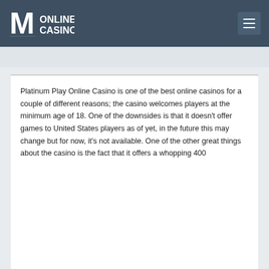M ONLINE CASINOS
Platinum Play Online Casino is one of the best online casinos for a couple of different reasons; the casino welcomes players at the minimum age of 18. One of the downsides is that it doesn't offer games to United States players as of yet, in the future this may change but for now, it's not available. One of the other great things about the casino is the fact that it offers a whopping 400